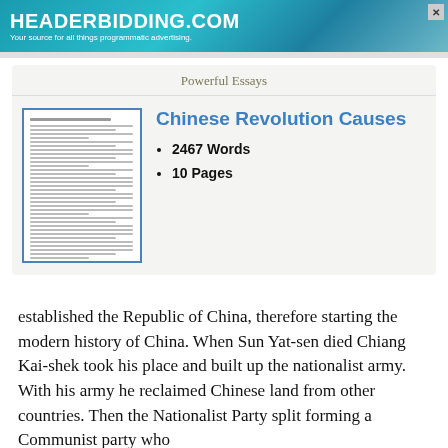[Figure (screenshot): HEADERBIDDING.COM advertisement banner - blue/teal gradient background with white text: 'HEADERBIDDING.COM' and 'Your source for all things programmatic advertising.']
Powerful Essays
Chinese Revolution Causes
2467 Words
10 Pages
established the Republic of China, therefore starting the modern history of China. When Sun Yat-sen died Chiang Kai-shek took his place and built up the nationalist army. With his army he reclaimed Chinese land from other countries. Then the Nationalist Party split forming a Communist party who